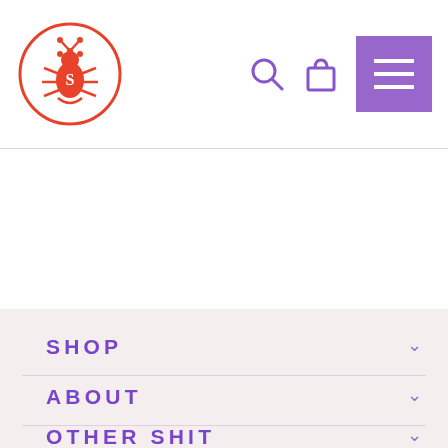[Figure (logo): Red circular logo with ornate letter S in the center, decorative floral/insect motifs around it]
Navigation header with search icon, bag icon, and purple hamburger menu button
SHOP
ABOUT
OTHER SHIT